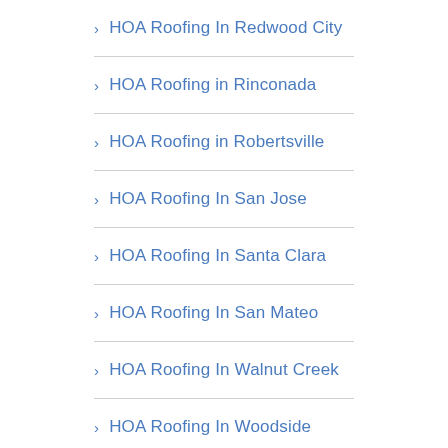HOA Roofing In Redwood City
HOA Roofing in Rinconada
HOA Roofing in Robertsville
HOA Roofing In San Jose
HOA Roofing In Santa Clara
HOA Roofing In San Mateo
HOA Roofing In Walnut Creek
HOA Roofing In Woodside
HOA Roofing In Brentwood